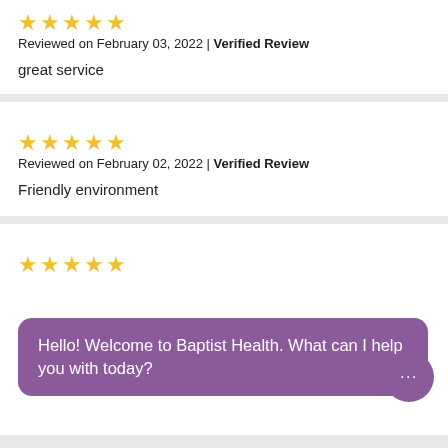[Figure (other): 5 gold stars rating]
Reviewed on February 03, 2022 | Verified Review
great service
[Figure (other): 5 gold stars rating]
Reviewed on February 02, 2022 | Verified Review
Friendly environment
[Figure (other): 5 gold stars rating]
Hello! Welcome to Baptist Health. What can I help you with today?
I like Dr. Storm and the staff.